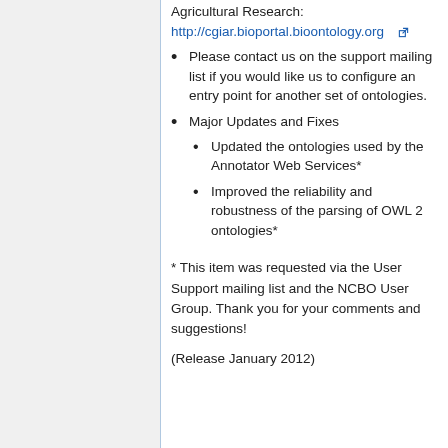Agricultural Research: http://cgiar.bioportal.bioontology.org
Please contact us on the support mailing list if you would like us to configure an entry point for another set of ontologies.
Major Updates and Fixes
Updated the ontologies used by the Annotator Web Services*
Improved the reliability and robustness of the parsing of OWL 2 ontologies*
* This item was requested via the User Support mailing list and the NCBO User Group. Thank you for your comments and suggestions!
(Release January 2012)